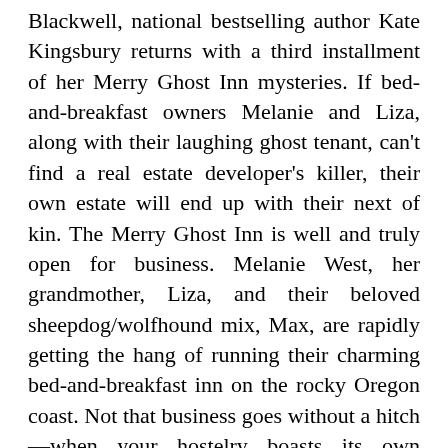Blackwell, national bestselling author Kate Kingsbury returns with a third installment of her Merry Ghost Inn mysteries. If bed-and-breakfast owners Melanie and Liza, along with their laughing ghost tenant, can't find a real estate developer's killer, their own estate will end up with their next of kin. The Merry Ghost Inn is well and truly open for business. Melanie West, her grandmother, Liza, and their beloved sheepdog/wolfhound mix, Max, are rapidly getting the hang of running their charming bed-and-breakfast inn on the rocky Oregon coast. Not that business goes without a hitch—when your hostelry boasts its own laughing resident ghost, you'd better be expect the out-of-the-ordinary. But Melanie and Liza take it all in stride…until a hotshot real estate developer arrives in Sully's Landing, touting his plans to build a tacky amusement arcade smack dab in the middle of the tasteful cliff-side town. No one in Sully's Landing can stand the